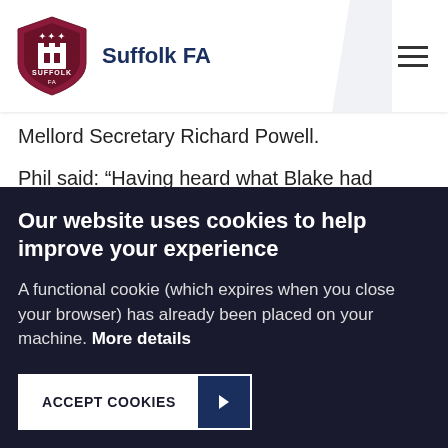Suffolk FA
Mellord Secretary Richard Powell.
Phil said: “Having heard what Blake had achieved I said if we could help in any way to let me know.
“He contacted me about four weeks ago to see if we could support him, and we are delighted to be able to do so.”
Phil arranged for Suffolk FA to donate £100 worth of
Our website uses cookies to help improve your experience
A functional cookie (which expires when you close your browser) has already been placed on your machine. More details
ACCEPT COOKIES